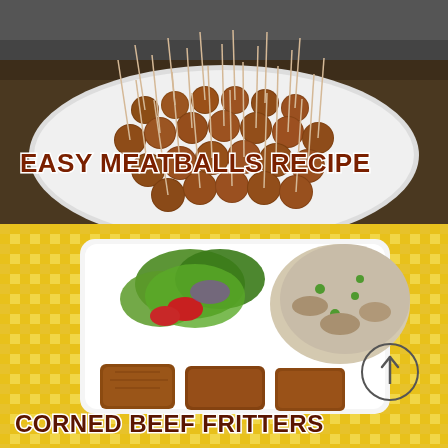[Figure (photo): Photo of meatballs on a white oval plate with toothpicks in each meatball, on a dark kitchen counter background]
EASY MEATBALLS RECIPE
[Figure (photo): Photo of corned beef fritters on a white plate with salad and potato salad, on a yellow gingham checkered tablecloth, with a scroll-up circle icon]
CORNED BEEF FRITTERS